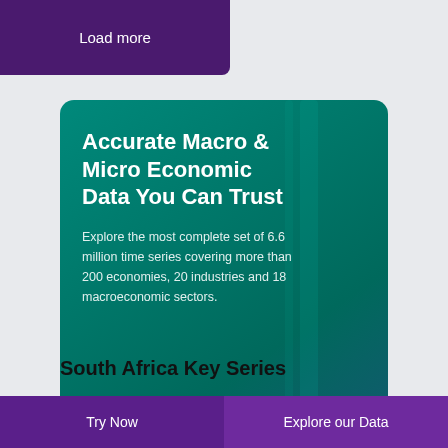Load more
[Figure (photo): Card with teal/green gradient background showing a person in a hallway, overlaid with text about macro and micro economic data, a play button and call-to-action text]
Accurate Macro & Micro Economic Data You Can Trust
Explore the most complete set of 6.6 million time series covering more than 200 economies, 20 industries and 18 macroeconomic sectors.
Learn more about what we do
South Africa Key Series
Try Now   Explore our Data